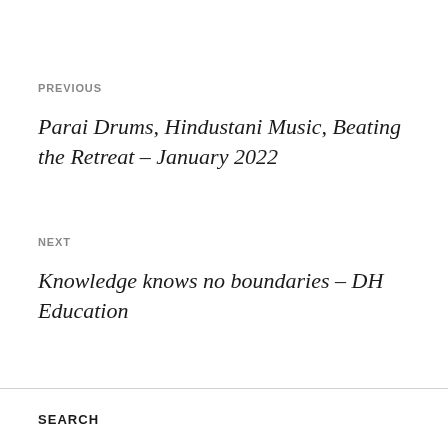PREVIOUS
Parai Drums, Hindustani Music, Beating the Retreat – January 2022
NEXT
Knowledge knows no boundaries – DH Education
SEARCH